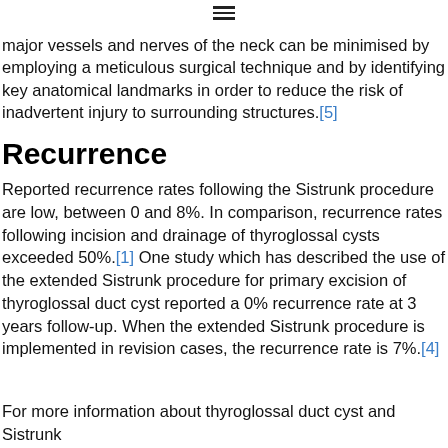≡
major vessels and nerves of the neck can be minimised by employing a meticulous surgical technique and by identifying key anatomical landmarks in order to reduce the risk of inadvertent injury to surrounding structures.[5]
Recurrence
Reported recurrence rates following the Sistrunk procedure are low, between 0 and 8%. In comparison, recurrence rates following incision and drainage of thyroglossal cysts exceeded 50%.[1] One study which has described the use of the extended Sistrunk procedure for primary excision of thyroglossal duct cyst reported a 0% recurrence rate at 3 years follow-up. When the extended Sistrunk procedure is implemented in revision cases, the recurrence rate is 7%.[4]
For more information about thyroglossal duct cyst and Sistrunk